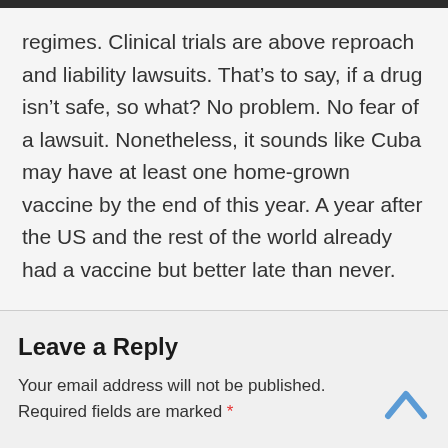regimes. Clinical trials are above reproach and liability lawsuits. That’s to say, if a drug isn’t safe, so what? No problem. No fear of a lawsuit. Nonetheless, it sounds like Cuba may have at least one home-grown vaccine by the end of this year. A year after the US and the rest of the world already had a vaccine but better late than never.
Leave a Reply
Your email address will not be published. Required fields are marked *